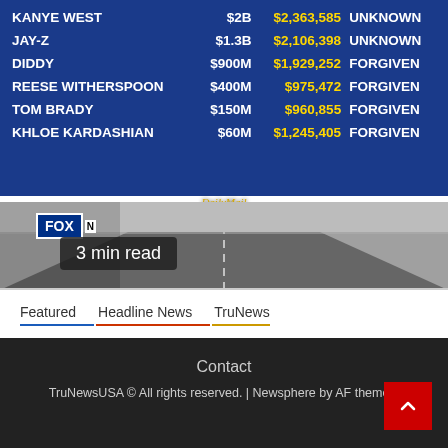[Figure (screenshot): A composite image showing a table on a blue background listing celebrities (KANYE WEST, JAY-Z, DIDDY, REESE WITHERSPOON, TOM BRADY, KHLOE KARDASHIAN) with net worth, PPP loan amounts, and forgiveness status. Below is a Fox News chyron overlay on a road scene with a '3 min read' badge.]
| Name | Net Worth | Amount | Status |
| --- | --- | --- | --- |
| KANYE WEST | $2B | $2,363,585 | UNKNOWN |
| JAY-Z | $1.3B | $2,106,398 | UNKNOWN |
| DIDDY | $900M | $1,929,252 | FORGIVEN |
| REESE WITHERSPOON | $400M | $975,472 | FORGIVEN |
| TOM BRADY | $150M | $960,855 | FORGIVEN |
| KHLOE KARDASHIAN | $60M | $1,245,405 | FORGIVEN |
3 min read
DailyMail
Featured  Headline News  TruNews
Celebrities Took Taxpayer funded PPP Covid Relief Loans
1 week ago  TruNews Editor
Contact
TruNewsUSA © All rights reserved. | Newsphere by AF themes.